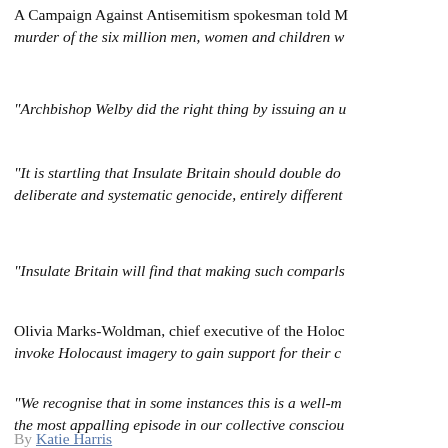A Campaign Against Antisemitism spokesman told M... murder of the six million men, women and children w...
"Archbishop Welby did the right thing by issuing an u...
"It is startling that Insulate Britain should double do... deliberate and systematic genocide, entirely different...
"Insulate Britain will find that making such comparis...
Olivia Marks-Woldman, chief executive of the Holoc... invoke Holocaust imagery to gain support for their c...
"We recognise that in some instances this is a well-m... the most appalling episode in our collective consciou...
By Katie Harris